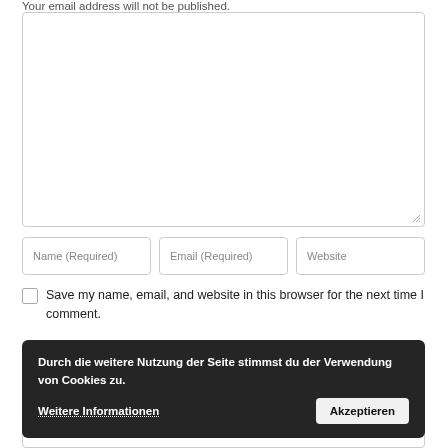Your email address will not be published.
[Figure (screenshot): Large textarea input field with resize handle at bottom right]
[Figure (screenshot): Three input fields: Name (Required), Email (Required), Website]
Save my name, email, and website in this browser for the next time I comment.
[Figure (screenshot): Cookie consent banner overlay with text: Durch die weitere Nutzung der Seite stimmst du der Verwendung von Cookies zu. Weitere Informationen | Akzeptieren button]
[Figure (screenshot): Partial input box at bottom of page]